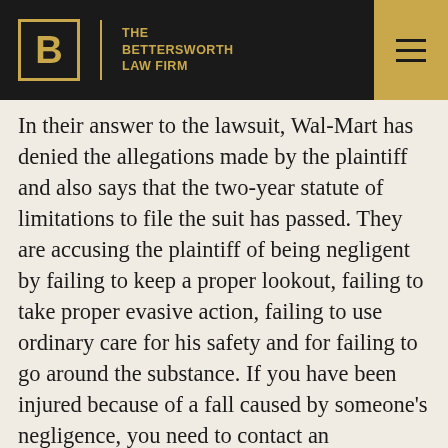THE BETTERSWORTH LAW FIRM
In their answer to the lawsuit, Wal-Mart has denied the allegations made by the plaintiff and also says that the two-year statute of limitations to file the suit has passed. They are accusing the plaintiff of being negligent by failing to keep a proper lookout, failing to take proper evasive action, failing to use ordinary care for his safety and for failing to go around the substance. If you have been injured because of a fall caused by someone's negligence, you need to contact an experienced personal injury attorney to see